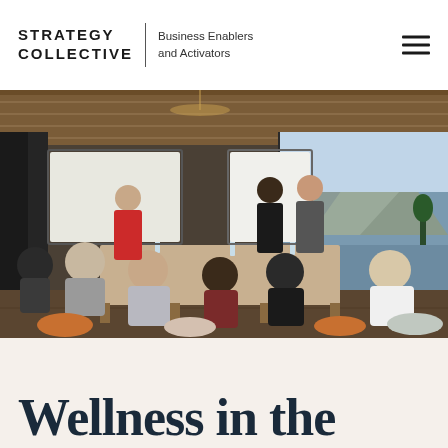STRATEGY COLLECTIVE | Business Enablers and Activators
[Figure (photo): Business workshop session in a modern conference room with floor-to-ceiling windows overlooking a lake and mountains. Multiple participants seated around tables, two presenters standing near whiteboards and a screen.]
Wellness in the